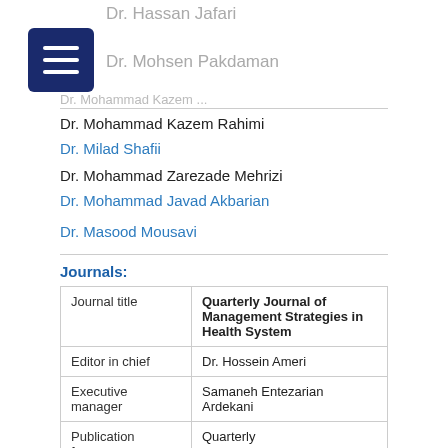Dr. Hassan Jafari | Dr. Mohsen Pakdaman | Dr. Mohammad Kazem Rahimi
Dr. Mohammad Kazem Rahimi
Dr. Milad Shafii
Dr. Mohammad Zarezade Mehrizi
Dr. Mohammad Javad Akbarian
Dr. Masood Mousavi
Journals:
| Journal title | Quarterly Journal of Management Strategies in Health System |
| --- | --- |
| Editor in chief | Dr. Hossein Ameri |
| Executive manager | Samaneh Entezarian Ardekani |
| Publication frequency | Quarterly |